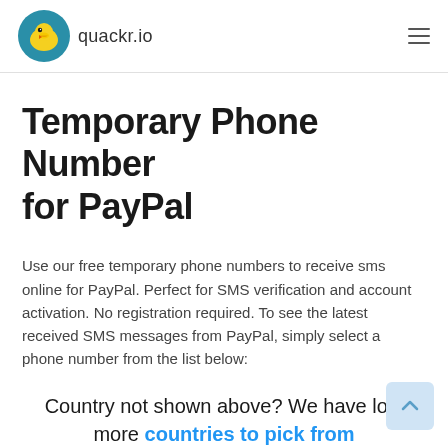quackr.io
Temporary Phone Number for PayPal
Use our free temporary phone numbers to receive sms online for PayPal. Perfect for SMS verification and account activation. No registration required. To see the latest received SMS messages from PayPal, simply select a phone number from the list below:
Country not shown above? We have lots more countries to pick from